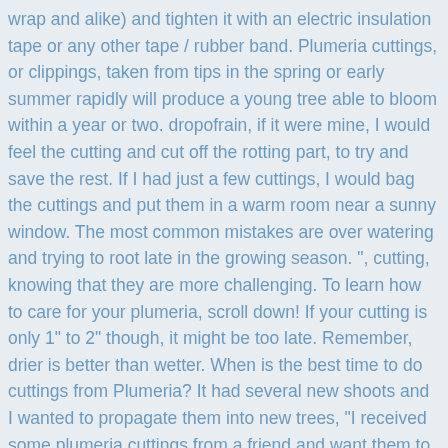wrap and alike) and tighten it with an electric insulation tape or any other tape / rubber band. Plumeria cuttings, or clippings, taken from tips in the spring or early summer rapidly will produce a young tree able to bloom within a year or two. dropofrain, if it were mine, I would feel the cutting and cut off the rotting part, to try and save the rest. If I had just a few cuttings, I would bag the cuttings and put them in a warm room near a sunny window. The most common mistakes are over watering and trying to root late in the growing season. ", cutting, knowing that they are more challenging. To learn how to care for your plumeria, scroll down! If your cutting is only 1" to 2" though, it might be too late. Remember, drier is better than wetter. When is the best time to do cuttings from Plumeria? It had several new shoots and I wanted to propagate them into new trees, "I received some plumeria cuttings from a friend and want them to thrive, as his plants are so beautiful! ", "I followed your instructions and was able to save the limb. callus the cut off part, plant in a well draining media, water thoroughly the first time and leave it alone